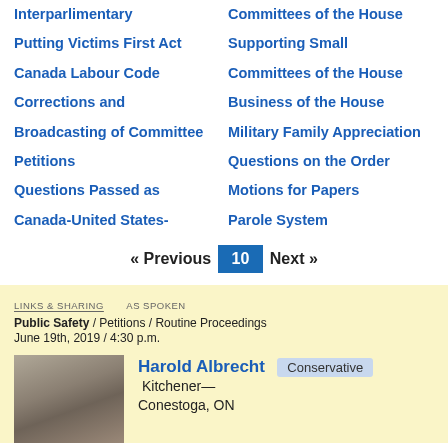Interparlimentary
Committees of the House
Putting Victims First Act
Supporting Small
Canada Labour Code
Committees of the House
Corrections and
Business of the House
Broadcasting of Committee
Military Family Appreciation
Petitions
Questions on the Order
Questions Passed as
Motions for Papers
Canada-United States-
Parole System
« Previous  10  Next »
LINKS & SHARING   AS SPOKEN
Public Safety / Petitions / Routine Proceedings
June 19th, 2019 / 4:30 p.m.
Harold Albrecht  Conservative  Kitchener—Conestoga, ON